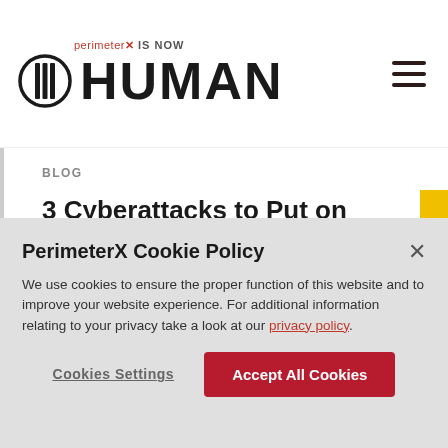[Figure (logo): PerimeterX is now HUMAN logo with circular icon containing vertical bars]
BLOG
3 Cyberattacks to Put on Your Naughty List This Holiday Season
Read More →
PerimeterX Cookie Policy
We use cookies to ensure the proper function of this website and to improve your website experience. For additional information relating to your privacy take a look at our privacy policy.
Cookies Settings    Accept All Cookies